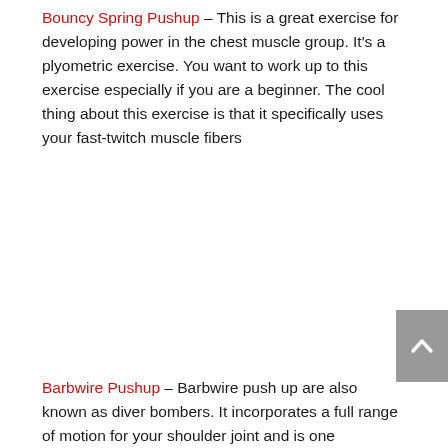Bouncy Spring Pushup – This is a great exercise for developing power in the chest muscle group. It's a plyometric exercise. You want to work up to this exercise especially if you are a beginner. The cool thing about this exercise is that it specifically uses your fast-twitch muscle fibers
Barbwire Pushup – Barbwire push up are also known as diver bombers. It incorporates a full range of motion for your shoulder joint and is one